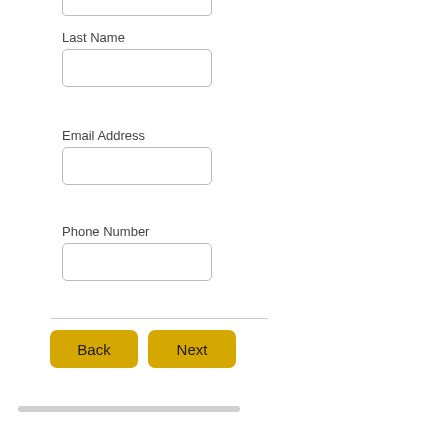Last Name
Email Address
Phone Number
[Figure (other): Back button (yellow/gold rounded rectangle)]
[Figure (other): Next button (yellow/gold rounded rectangle)]